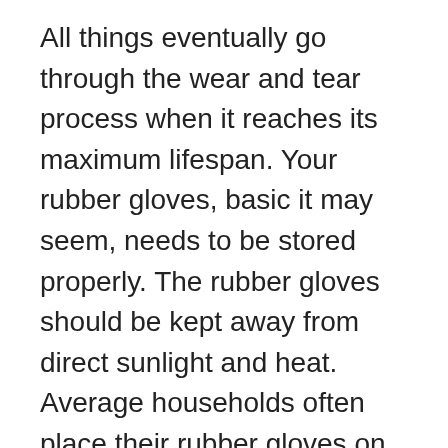All things eventually go through the wear and tear process when it reaches its maximum lifespan. Your rubber gloves, basic it may seem, needs to be stored properly. The rubber gloves should be kept away from direct sunlight and heat. Average households often place their rubber gloves on the window sill. It is often the misconception to make it dry quickly. But then, you are turning it into a melted mess. Also, avoid the gloves punctured, creating holes. It can give access to water to enter on your next